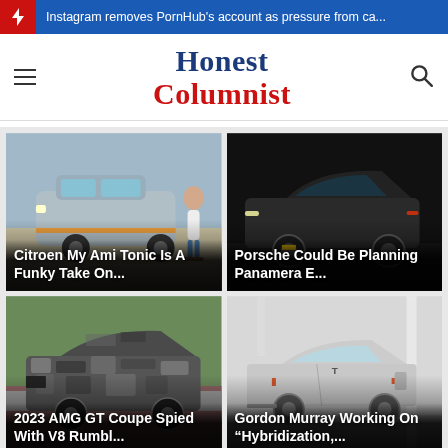Instagram removes PornHub's account as pressure from ca...
Honest Columnist
[Figure (photo): Citroen My Ami Tonic small electric vehicle on a track with a person standing next to it]
Citroen My Ami Tonic Is A Funky Take On...
[Figure (photo): Dark grey Porsche Panamera on a dark background]
Porsche Could Be Planning Panamera E...
[Figure (photo): 2023 AMG GT Coupe with camouflage wrap on a race track]
2023 AMG GT Coupe Spied With V8 Rumbl...
[Figure (photo): Gordon Murray silver supercar in a garage/showroom]
Gordon Murray Working On “Hybridization,...